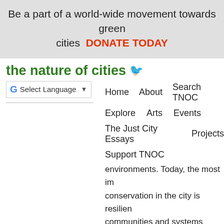Be a part of a world-wide movement towards green cities  DONATE TODAY
the nature of cities 🐦
G Select Language ▼   Home   About   Search TNOC
Explore   Arts   Events
The Just City Essays   Projects
Support TNOC
environments. Today, the most im conservation in the city is resilien communities and systems better catastrophic events- incorporates sustainability while highlighting t threat of climate change. In the p disasters such as Superstorm San shock waves through U.S. cities. that these extreme weather even